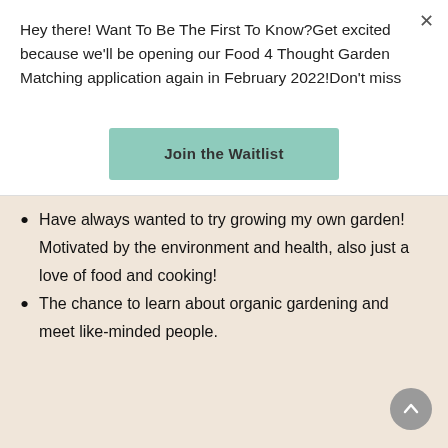Hey there! Want To Be The First To Know?Get excited because we'll be opening our Food 4 Thought Garden Matching application again in February 2022!Don't miss
Join the Waitlist
Have always wanted to try growing my own garden! Motivated by the environment and health, also just a love of food and cooking!
The chance to learn about organic gardening and meet like-minded people.